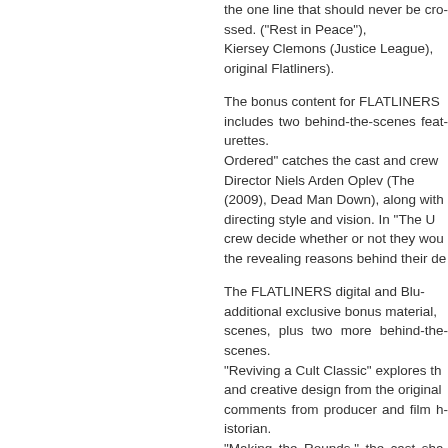the one line that should never be crossed. ("Rest in Peace"), Kiersey Clemons (Justice League), and the original Flatliners).
The bonus content for FLATLINERS includes two behind-the-scenes featurettes. "Ordered" catches the cast and crew with Director Niels Arden Oplev (The Girl with the Dragon Tattoo (2009), Dead Man Down), along with his directing style and vision. In "The Ultimate" crew decide whether or not they would, and the revealing reasons behind their decisions.
The FLATLINERS digital and Blu-ray additional exclusive bonus material, deleted scenes, plus two more behind-the-scenes. "Reviving a Cult Classic" explores the legacy and creative design from the original film with comments from producer and film historian. "Making the Rounds," the cast shares about their characters, their experiences, and favorite film moments.
Synopsis: